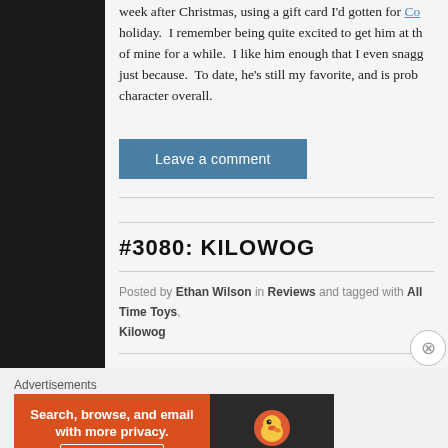week after Christmas, using a gift card I'd gotten for Co holiday. I remember being quite excited to get him at th of mine for a while. I like him enough that I even snagg just because. To date, he's still my favorite, and is prob character overall.
Leave a comment
#3080: KILOWOG
Posted by Ethan Wilson in Reviews and tagged with All Time Toys, Kilowog